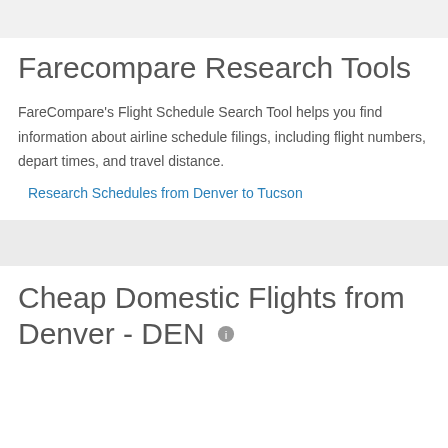Farecompare Research Tools
FareCompare's Flight Schedule Search Tool helps you find information about airline schedule filings, including flight numbers, depart times, and travel distance.
Research Schedules from Denver to Tucson
Cheap Domestic Flights from Denver - DEN